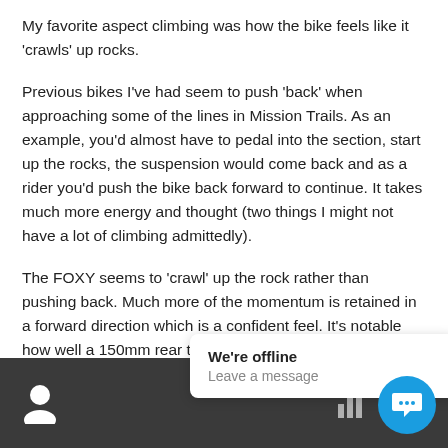My favorite aspect climbing was how the bike feels like it 'crawls' up rocks.
Previous bikes I've had seem to push 'back' when approaching some of the lines in Mission Trails. As an example, you'd almost have to pedal into the section, start up the rocks, the suspension would come back and as a rider you'd push the bike back forward to continue. It takes much more energy and thought (two things I might not have a lot of climbing admittedly).
The FOXY seems to 'crawl' up the rock rather than pushing back. Much more of the momentum is retained in a forward direction which is a confident feel. It's notable how well a 150mm rear travel bike climbs these days –
[Figure (screenshot): Website footer bar with dark background, a user icon on the left, a chat popup saying 'We're offline / Leave a message', a bar chart icon, and a blue circular chat button on the right.]